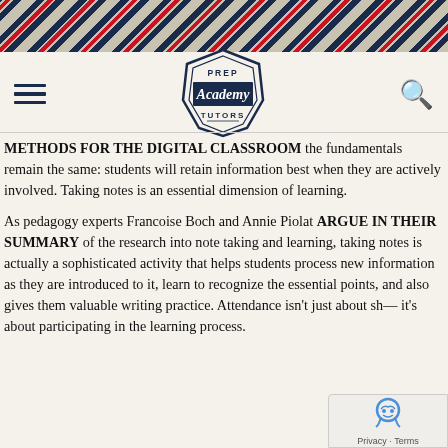[Figure (illustration): Diagonal navy, red, and tan stripe decorative banner at top of page]
[Figure (logo): Prep Academy Tutors badge/crest logo centered in navigation bar]
METHODS FOR THE DIGITAL CLASSROOM the fundamentals remain the same: students will retain information best when they are actively involved. Taking notes is an essential dimension of learning.
As pedagogy experts Francoise Boch and Annie Piolat ARGUE IN THEIR SUMMARY of the research into note taking and learning, taking notes is actually a sophisticated activity that helps students process new information as they are introduced to it, learn to recognize the essential points, and also gives them valuable writing practice. Attendance isn't just about sh— it's about participating in the learning process.